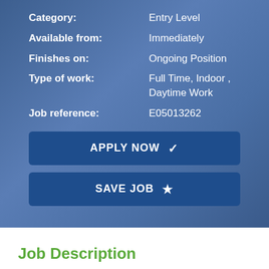Category: Entry Level
Available from: Immediately
Finishes on: Ongoing Position
Type of work: Full Time, Indoor , Daytime Work
Job reference: E05013262
APPLY NOW ✔
SAVE JOB ★
Job Description
We are one of the largest specialist mental health and learning disabilities trusts in the country, with an annual